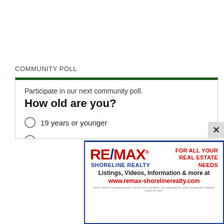COMMUNITY POLL
Participate in our next community poll.
How old are you?
19 years or younger
20 to 29
30 to 39
40 to 49
50 to 59
60 to 69
[Figure (logo): RE/MAX Shoreline Realty advertisement banner with logo, tagline FOR ALL YOUR REAL ESTATE NEEDS, listings info, and website www.remax-shorelinerealty.com]